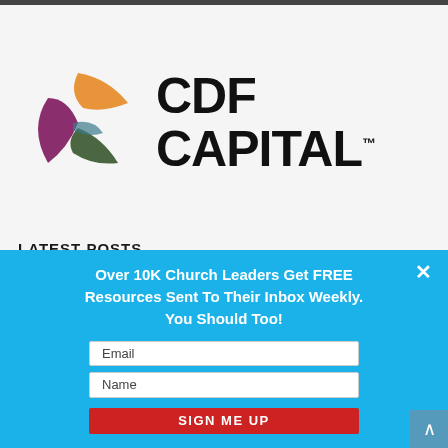[Figure (logo): CDF Capital logo with colorful swoosh/leaf shapes and bold CDF CAPITAL text]
LATEST POSTS
Advice on Taking Your Best Next Step When
Over 10K Church Leaders Get FREE Resources Sent To Their Inbox Weekly. You Should Too!
Email
Name
SIGN ME UP